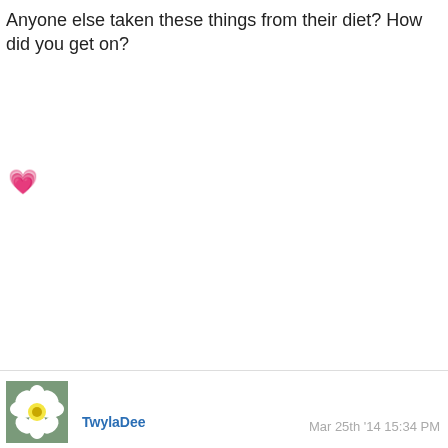Anyone else taken these things from their diet? How did you get on?
[Figure (other): Pink heart emoji]
[Figure (photo): Small thumbnail photo of white flower, avatar for user TwylaDee]
TwylaDee
Mar 25th '14 15:34 PM